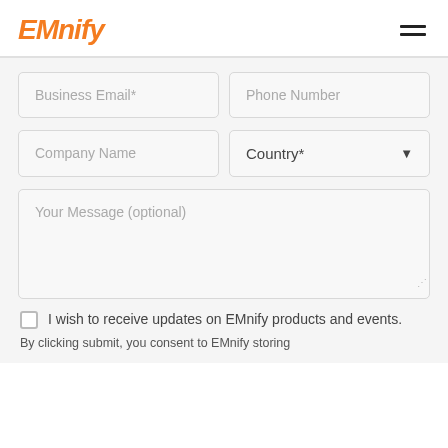EMnify
Business Email*
Phone Number
Company Name
Country*
Your Message (optional)
I wish to receive updates on EMnify products and events.
By clicking submit, you consent to EMnify storing...